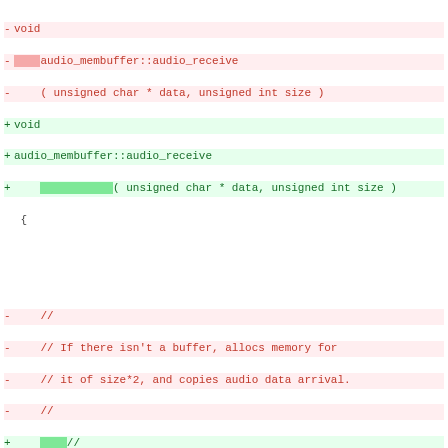[Figure (screenshot): A code diff showing changes to the audio_membuffer::audio_receive function in a C++ source file. Removed lines are shown in red with pink background (prefixed with -), added lines are shown in green with green background (prefixed with +). The diff shows indentation changes and minor code reorganization. Highlighted spans mark changed tokens within lines.]